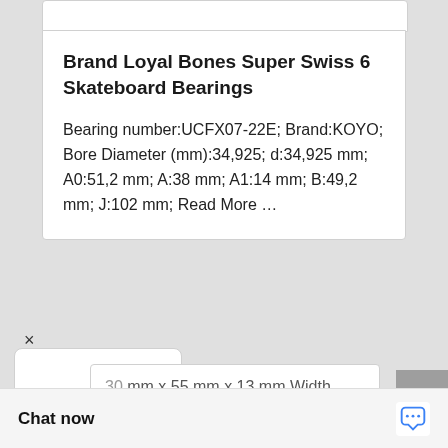Brand Loyal Bones Super Swiss 6 Skateboard Bearings
Bearing number:UCFX07-22E; Brand:KOYO; Bore Diameter (mm):34,925; d:34,925 mm; A0:51,2 mm; A:38 mm; A1:14 mm; B:49,2 mm; J:102 mm; Read More …
30 mm x 55 mm x 13 mm Width (mm) Loval Bones
Chat now